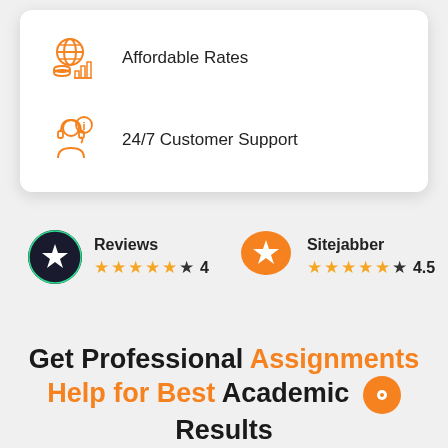[Figure (infographic): Orange icon of globe with coins and bar chart representing Affordable Rates feature]
Affordable Rates
[Figure (infographic): Orange icon of customer support agent with headset and info symbol representing 24/7 Customer Support]
24/7 Customer Support
[Figure (infographic): Black circle Trustpilot-style star logo for Reviews rating]
Reviews ★★★★★ 4
[Figure (infographic): Orange speech bubble with star Sitejabber logo]
Sitejabber ★★★★★ 4.5
Get Professional Assignments Help for Best Academic Results